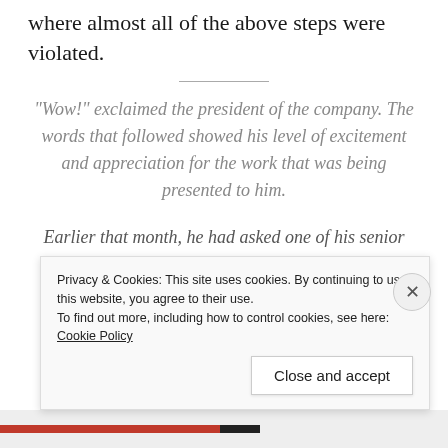where almost all of the above steps were violated.
“Wow!” exclaimed the president of the company. The words that followed showed his level of excitement and appreciation for the work that was being presented to him.
Earlier that month, he had asked one of his senior directors to find a place that would be the future
Privacy & Cookies: This site uses cookies. By continuing to use this website, you agree to their use.
To find out more, including how to control cookies, see here: Cookie Policy
Close and accept